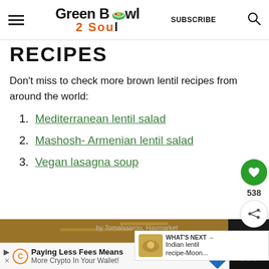Green Bowl 2 Soul | SUBSCRIBE
RECIPES
Don't miss to check more brown lentil recipes from around the world:
1. Mediterranean lentil salad
2. Mashosh- Armenian lentil salad
3. Vegan lasagna soup
[Figure (screenshot): Floating social buttons: heart/like button (green circle, count 538) and share button]
[Figure (screenshot): What's Next bar showing Indian lentil recipe-Moon... thumbnail]
[Figure (photo): Partial food photo at bottom, blurred/cropped]
[Figure (screenshot): Advertisement bar at bottom: Paying Less Fees Means More Crypto in Your Wallet!]